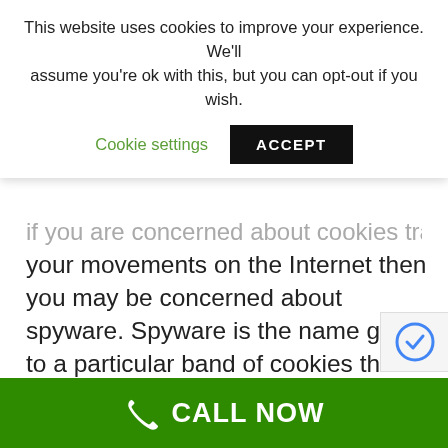This website uses cookies to improve your experience. We'll assume you're ok with this, but you can opt-out if you wish.
Cookie settings | ACCEPT
if you are concerned about cookies tracking your movements on the Internet then you may be concerned about spyware. Spyware is the name given to a particular band of cookies that track personal information about you. There are many antispyware programs that you can use to prevent this from happening. Learn more about antispyware software - http://en.wikipedia.org/wiki/Spyware
Cookie Check
CALL NOW